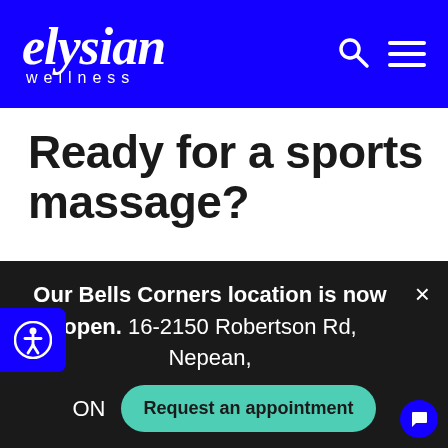elysian wellness
Ready for a sports massage?
For many athletes, sports massage therapy is safe and effective way to treat injuries and
Our Bells Corners location is now open. 16-2150 Robertson Rd, Nepean, ON
Request an appointment